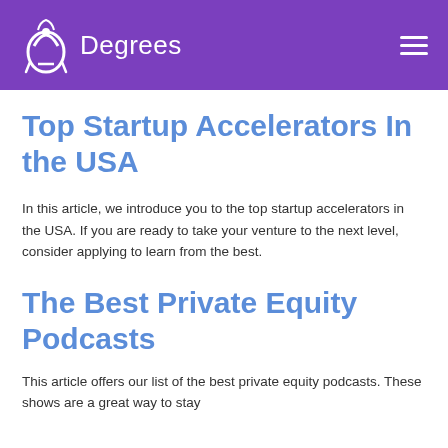49 Degrees
Top Startup Accelerators In the USA
In this article, we introduce you to the top startup accelerators in the USA. If you are ready to take your venture to the next level, consider applying to learn from the best.
The Best Private Equity Podcasts
This article offers our list of the best private equity podcasts. These shows are a great way to stay